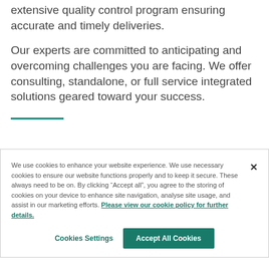extensive quality control program ensuring accurate and timely deliveries.
Our experts are committed to anticipating and overcoming challenges you are facing. We offer consulting, standalone, or full service integrated solutions geared toward your success.
We use cookies to enhance your website experience. We use necessary cookies to ensure our website functions properly and to keep it secure. These always need to be on. By clicking “Accept all”, you agree to the storing of cookies on your device to enhance site navigation, analyse site usage, and assist in our marketing efforts. Please view our cookie policy for further details.
Cookies Settings
Accept All Cookies